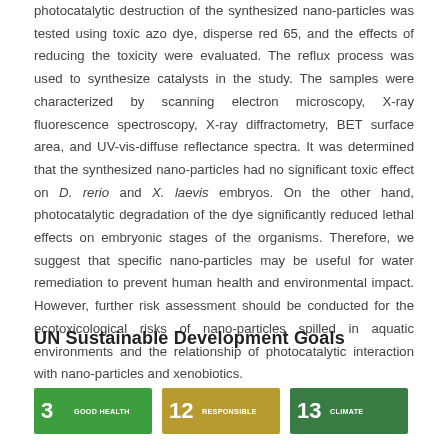photocatalytic destruction of the synthesized nano-particles was tested using toxic azo dye, disperse red 65, and the effects of reducing the toxicity were evaluated. The reflux process was used to synthesize catalysts in the study. The samples were characterized by scanning electron microscopy, X-ray fluorescence spectroscopy, X-ray diffractometry, BET surface area, and UV-vis-diffuse reflectance spectra. It was determined that the synthesized nano-particles had no significant toxic effect on D. rerio and X. laevis embryos. On the other hand, photocatalytic degradation of the dye significantly reduced lethal effects on embryonic stages of the organisms. Therefore, we suggest that specific nano-particles may be useful for water remediation to prevent human health and environmental impact. However, further risk assessment should be conducted for the ecotoxicological risks of nano-particles spilled in aquatic environments and the relationship of photocatalytic interaction with nano-particles and xenobiotics.
UN Sustainable Development Goals
[Figure (infographic): Three UN SDG icons: SDG 3 Good Health (green), SDG 12 Responsible (gold/yellow), SDG 13 Climate (dark green)]